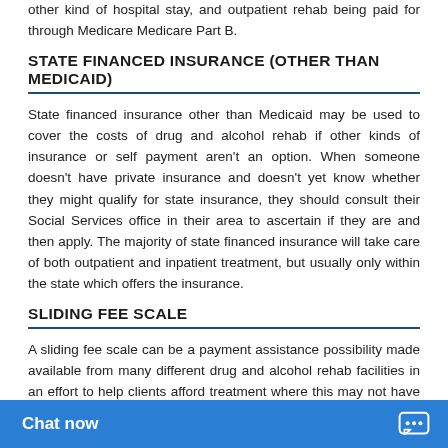other kind of hospital stay, and outpatient rehab being paid for through Medicare Medicare Part B.
STATE FINANCED INSURANCE (OTHER THAN MEDICAID)
State financed insurance other than Medicaid may be used to cover the costs of drug and alcohol rehab if other kinds of insurance or self payment aren't an option. When someone doesn't have private insurance and doesn't yet know whether they might qualify for state insurance, they should consult their Social Services office in their area to ascertain if they are and then apply. The majority of state financed insurance will take care of both outpatient and inpatient treatment, but usually only within the state which offers the insurance.
SLIDING FEE SCALE
A sliding fee scale can be a payment assistance possibility made available from many different drug and alcohol rehab facilities in an effort to help clients afford treatment where this may not have been possi... fee for rehab could be di...